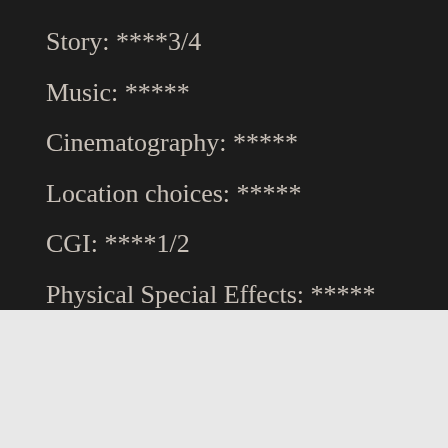Story: ****3/4
Music: *****
Cinematography: *****
Location choices: *****
CGI: ****1/2
Physical Special Effects: *****
[Figure (screenshot): DuckDuckGo advertisement banner with text 'Search, browse, and email with more privacy. All in One Free App' on orange background with phone image]